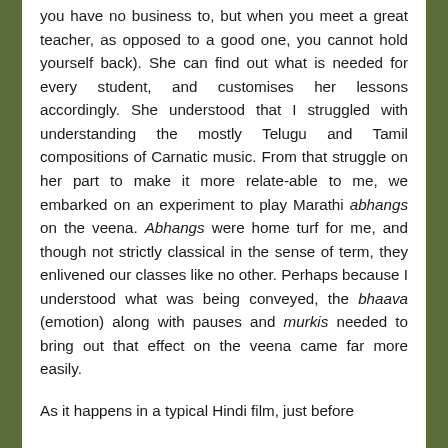you have no business to, but when you meet a great teacher, as opposed to a good one, you cannot hold yourself back). She can find out what is needed for every student, and customises her lessons accordingly. She understood that I struggled with understanding the mostly Telugu and Tamil compositions of Carnatic music. From that struggle on her part to make it more relate-able to me, we embarked on an experiment to play Marathi abhangs on the veena. Abhangs were home turf for me, and though not strictly classical in the sense of term, they enlivened our classes like no other. Perhaps because I understood what was being conveyed, the bhaava (emotion) along with pauses and murkis needed to bring out that effect on the veena came far more easily.

As it happens in a typical Hindi film, just before